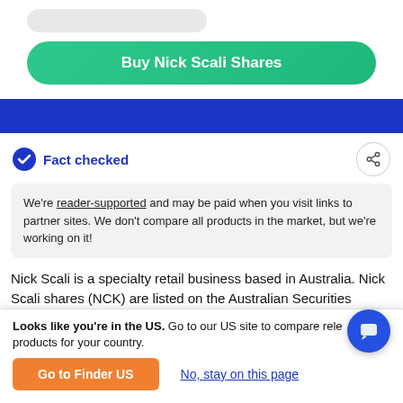[Figure (screenshot): Buy Nick Scali Shares button — green rounded rectangle button with white bold text]
Fact checked
We're reader-supported and may be paid when you visit links to partner sites. We don't compare all products in the market, but we're working on it!
Nick Scali is a specialty retail business based in Australia. Nick Scali shares (NCK) are listed on the Australian Securities Exchange (ASX) and all prices are in Australian dollars. Nick Scali has a market cap of...
Looks like you're in the US. Go to our US site to compare relevant products for your country.